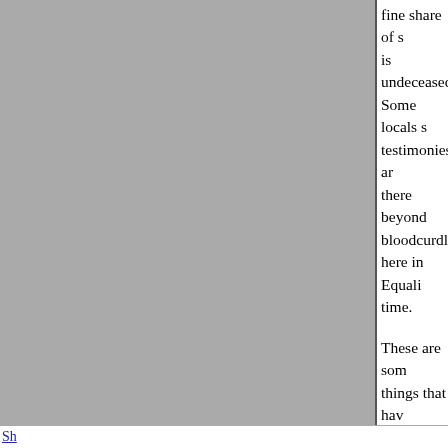fine share of s... is undeceased... Some locals s... testimonies ar... there beyond ... bloodcurdling... here in Equali... time.

These are som... things that ha... nearby cities a...

Eldorado 8 mi... lived here in t... than ten years... experiencing s... for the past tw... after my uncle... the guess bedi...
Sh...